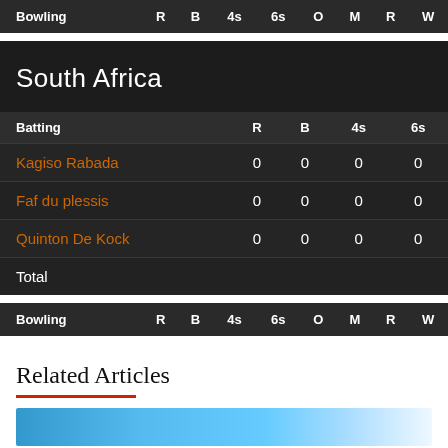| Bowling | R | B | 4s | 6s | O | M | R | W |
| --- | --- | --- | --- | --- | --- | --- | --- | --- |
South Africa
| Batting | R | B | 4s | 6s |
| --- | --- | --- | --- | --- |
| Kagiso Rabada | 0 | 0 | 0 | 0 |
| Faf du plessis | 0 | 0 | 0 | 0 |
| Quinton De Kock | 0 | 0 | 0 | 0 |
| Total |  |  |  |  |
| Bowling | R | B | 4s | 6s | O | M | R | W |
| --- | --- | --- | --- | --- | --- | --- | --- | --- |
Related Articles